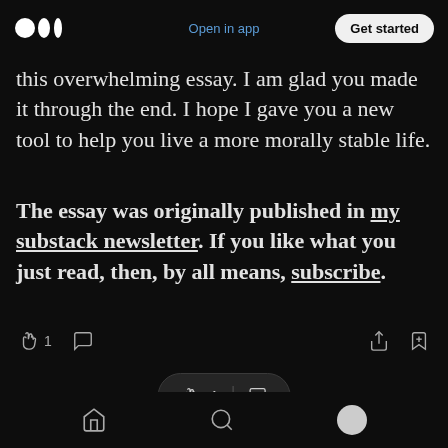Medium logo | Open in app | Get started
this overwhelming essay. I am glad you made it through the end. I hope I gave you a new tool to help you live a more morally stable life.
The essay was originally published in my substack newsletter. If you like what you just read, then, by all means, subscribe.
[Figure (screenshot): Article interaction bar with clap (1), comment, share, and bookmark icons]
[Figure (screenshot): Floating pill interaction bar showing clap count 1 and comment icon]
Bottom navigation bar with home, search, and profile icons